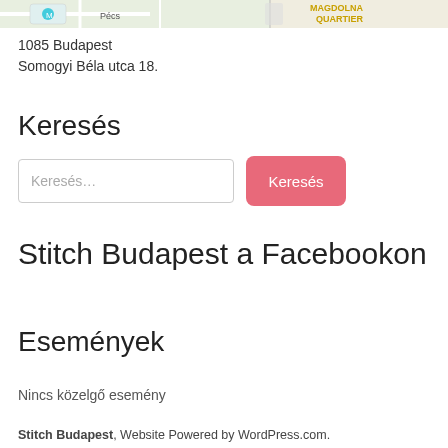[Figure (map): Partial map screenshot showing street map with MAGDOLNA QUARTIER label visible]
1085 Budapest
Somogyi Béla utca 18.
Keresés
[Figure (screenshot): Search input field with placeholder 'Keresés…' and a pink/red 'Keresés' button]
Stitch Budapest a Facebookon
Események
Nincs közelgő esemény
Stitch Budapest, Website Powered by WordPress.com.